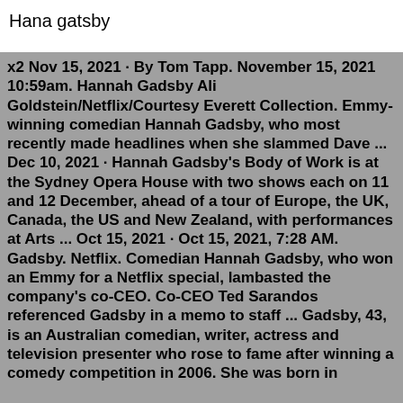Hana gatsby
x2 Nov 15, 2021 · By Tom Tapp. November 15, 2021 10:59am. Hannah Gadsby Ali Goldstein/Netflix/Courtesy Everett Collection. Emmy-winning comedian Hannah Gadsby, who most recently made headlines when she slammed Dave ... Dec 10, 2021 · Hannah Gadsby's Body of Work is at the Sydney Opera House with two shows each on 11 and 12 December, ahead of a tour of Europe, the UK, Canada, the US and New Zealand, with performances at Arts ... Oct 15, 2021 · Oct 15, 2021, 7:28 AM. Gadsby. Netflix. Comedian Hannah Gadsby, who won an Emmy for a Netflix special, lambasted the company's co-CEO. Co-CEO Ted Sarandos referenced Gadsby in a memo to staff ... Gadsby, 43, is an Australian comedian, writer, actress and television presenter who rose to fame after winning a comedy competition in 2006. She was born in